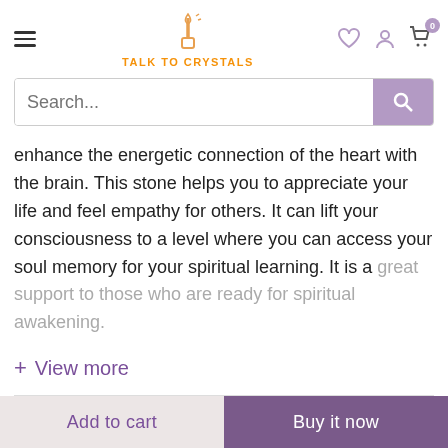TALK TO CRYSTALS
Search...
enhance the energetic connection of the heart with the brain. This stone helps you to appreciate your life and feel empathy for others. It can lift your consciousness to a level where you can access your soul memory for your spiritual learning. It is a great support to those who are ready for spiritual awakening.
+ View more
Shipping & Delivery
Add to cart
Buy it now